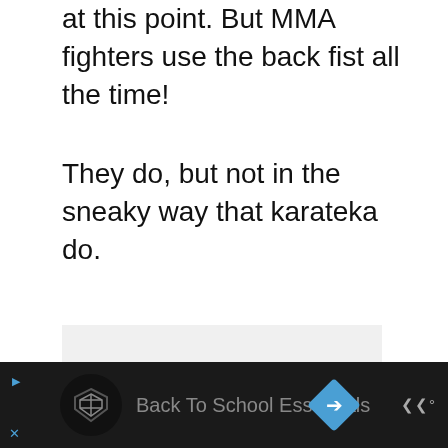at this point. But MMA fighters use the back fist all the time!
They do, but not in the sneaky way that karateka do.
[Figure (other): Light gray image placeholder area]
[Figure (other): Advertisement bar at bottom: dark background with circular logo, 'Back To School Essentials' text, blue diamond arrow icon, and navigation icons]